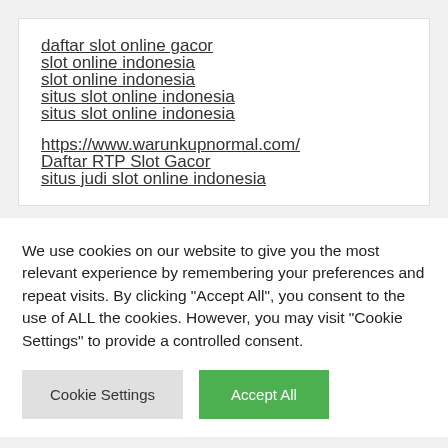daftar slot online gacor
slot online indonesia
slot online indonesia
situs slot online indonesia
situs slot online indonesia
https://www.warunkupnormal.com/
Daftar RTP Slot Gacor
situs judi slot online indonesia
We use cookies on our website to give you the most relevant experience by remembering your preferences and repeat visits. By clicking “Accept All”, you consent to the use of ALL the cookies. However, you may visit "Cookie Settings" to provide a controlled consent.
Cookie Settings | Accept All